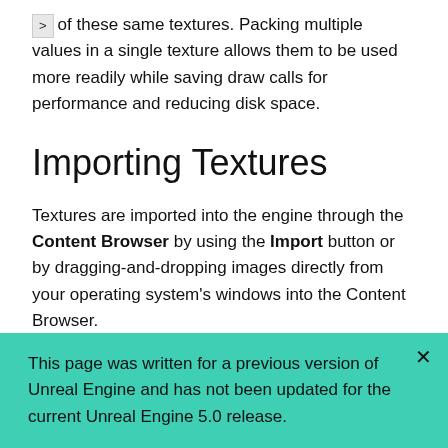of these same textures. Packing multiple values in a single texture allows them to be used more readily while saving draw calls for performance and reducing disk space.
Importing Textures
Textures are imported into the engine through the Content Browser by using the Import button or by dragging-and-dropping images directly from your operating system's windows into the Content Browser.
This page was written for a previous version of Unreal Engine and has not been updated for the current Unreal Engine 5.0 release.